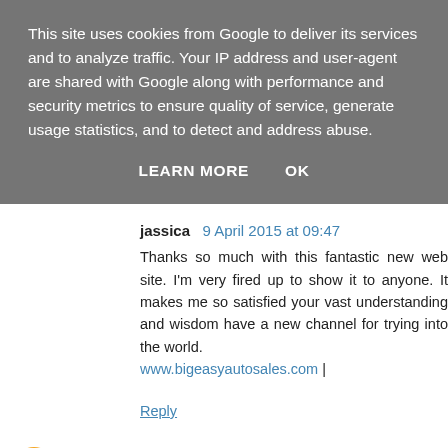This site uses cookies from Google to deliver its services and to analyze traffic. Your IP address and user-agent are shared with Google along with performance and security metrics to ensure quality of service, generate usage statistics, and to detect and address abuse.
LEARN MORE    OK
jassica  9 April 2015 at 09:47
Thanks so much with this fantastic new web site. I'm very fired up to show it to anyone. It makes me so satisfied your vast understanding and wisdom have a new channel for trying into the world.
www.bigeasyautosales.com |
Reply
Unknown  15 April 2015 at 08:09
This is really a nice and informative, containing all information and also has a great impact on the new...